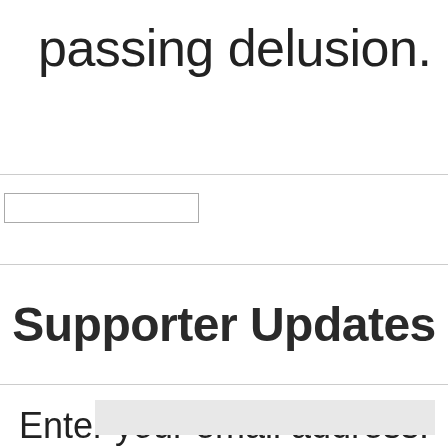passing delusion.
[Figure (other): Empty input box / form field]
Supporter Updates
Enter your email address:
[Figure (other): Email input field (grey background)]